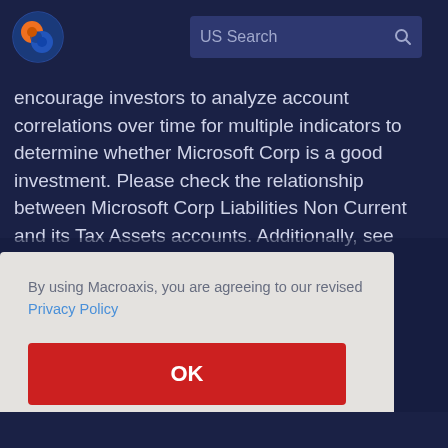US Search
encourage investors to analyze account correlations over time for multiple indicators to determine whether Microsoft Corp is a good investment. Please check the relationship between Microsoft Corp Liabilities Non Current and its Tax Assets accounts. Additionally, see Correlation Analysis.
By using Macroaxis, you are agreeing to our revised Privacy Policy
OK